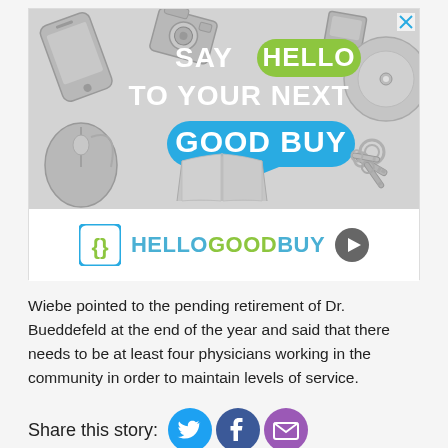[Figure (illustration): HelloGoodBuy advertisement banner. Top portion shows gray background with illustrated tech gadgets (smartphone, camera, mouse, CD/DVD, keys, book) and white bold text 'SAY HELLO TO YOUR NEXT GOOD BUY' where HELLO is in a green speech bubble and GOOD BUY is in a blue speech bubble. Bottom white strip shows the HelloGoodBuy logo with icon and a play button.]
Wiebe pointed to the pending retirement of Dr. Bueddefeld at the end of the year and said that there needs to be at least four physicians working in the community in order to maintain levels of service.
Share this story: